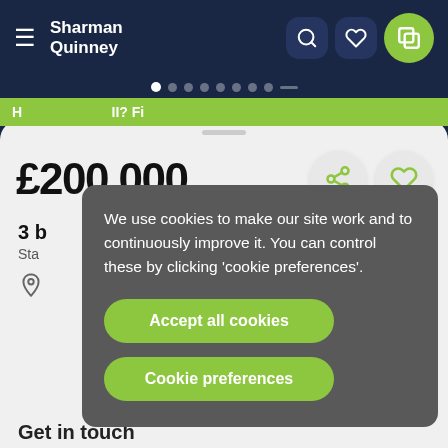[Figure (screenshot): Sharman Quinney real estate mobile app screenshot showing a property listing at £200,000 with a cookie consent overlay dialog.]
Sharman Quinney
£200,000
3 b
Sta
We use cookies to make our site work and to continuously improve it. You can control these by clicking 'cookie preferences'.
Accept all cookies
Cookie preferences
Get in touch